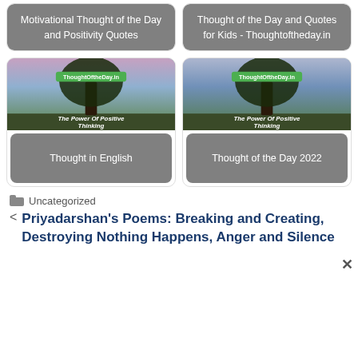[Figure (screenshot): Card with gray rounded label: Motivational Thought of the Day and Positivity Quotes]
[Figure (screenshot): Card with gray rounded label: Thought of the Day and Quotes for Kids - Thoughtoftheday.in]
[Figure (photo): Card with tree image and label: Thought in English]
[Figure (photo): Card with tree image and label: Thought of the Day 2022]
Uncategorized
< Priyadarshan's Poems: Breaking and Creating, Destroying Nothing Happens, Anger and Silence